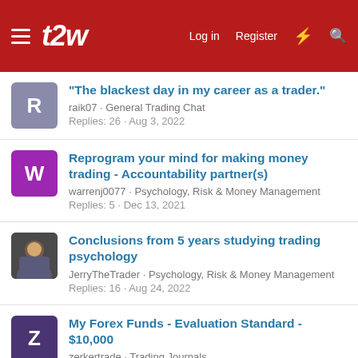t2w — Log in  Register
"The blackest day in my career as a trader." | raik07 · General Trading Chat | Replies: 26 · Aug 3, 2022
Reprogram your mind for making money trading - Accountability partner(s) | warrenj0077 · Psychology, Risk & Money Management | Replies: 5 · Dec 13, 2021
Conclusions from 5 years studying trading psychology | JerryTheTrader · Psychology, Risk & Money Management | Replies: 16 · Aug 24, 2022
My Forex Funds - Evaluation Standard - $10,000 | zerkertrade · Trading Journals | Replies: 6 · May 22, 2022
Trading is haram or not?